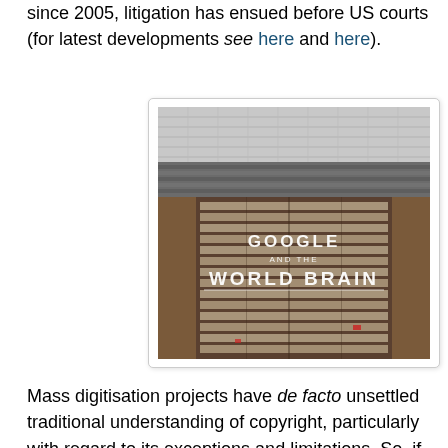since 2005, litigation has ensued before US courts (for latest developments see here and here).
[Figure (photo): Promotional image for the documentary 'Google and the World Brain' showing an aerial view of a large library reading room with text overlay reading 'GOOGLE AND THE WORLD BRAIN']
Mass digitisation projects have de facto unsettled traditional understanding of copyright, particularly with regard to its exceptions and limitations. So, if in the US a project like the Google Library has called into question issues of fair use, in Europe recent debate has focused on how to allow access to orphan works. The relevant Directive adopted last year provides cultural institutions with a new exception or limitation to the rights of reproduction and making available to the public. In addition, mass digitisation is central to debates on automated text